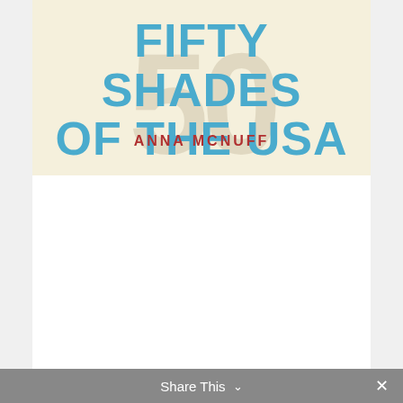[Figure (illustration): Book cover of 'Fifty Shades of the USA' by Anna McNuff. Cream/beige background with large stylized '50' watermark text. Title in large bold blue text reads 'FIFTY SHADES OF THE USA'. Author name 'ANNA MCNUFF' in smaller bold red text below the title.]
Share This ∨  ✕